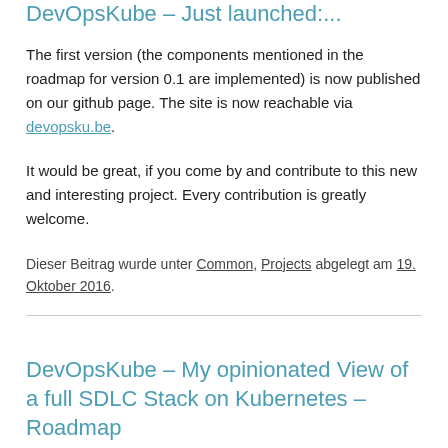DevOpsKube – Just launched:...
The first version (the components mentioned in the roadmap for version 0.1 are implemented) is now published on our github page. The site is now reachable via devopsku.be.
It would be great, if you come by and contribute to this new and interesting project. Every contribution is greatly welcome.
Dieser Beitrag wurde unter Common, Projects abgelegt am 19. Oktober 2016.
DevOpsKube – My opinionated View of a full SDLC Stack on Kubernetes – Roadmap
It was decided to use the following Roadmap to be able to